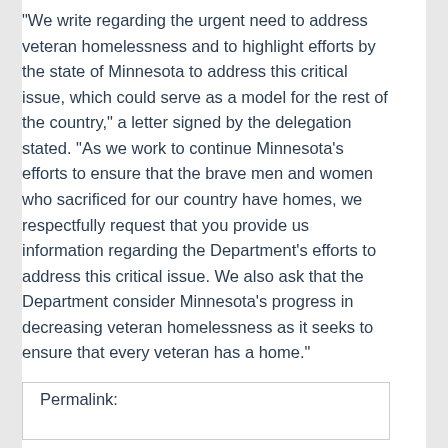"We write regarding the urgent need to address veteran homelessness and to highlight efforts by the state of Minnesota to address this critical issue, which could serve as a model for the rest of the country," a letter signed by the delegation stated. "As we work to continue Minnesota's efforts to ensure that the brave men and women who sacrificed for our country have homes, we respectfully request that you provide us information regarding the Department's efforts to address this critical issue. We also ask that the Department consider Minnesota's progress in decreasing veteran homelessness as it seeks to ensure that every veteran has a home."
Permalink: